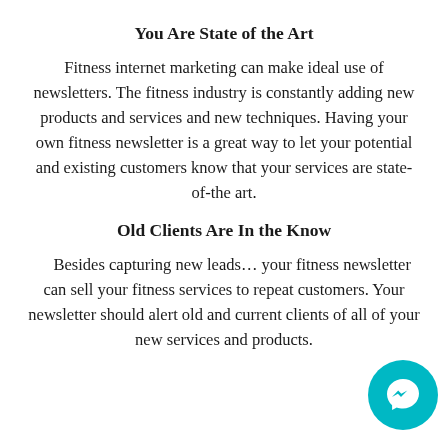You Are State of the Art
Fitness internet marketing can make ideal use of newsletters. The fitness industry is constantly adding new products and services and new techniques. Having your own fitness newsletter is a great way to let your potential and existing customers know that your services are state-of-the art.
Old Clients Are In the Know
Besides capturing new leads… your fitness newsletter can sell your fitness services to repeat customers. Your newsletter should alert old and current clients of all of your new services and products.